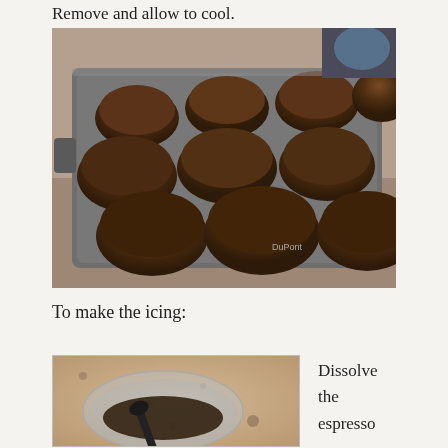Remove and allow to cool.
[Figure (photo): A baking tray with 12 domed chocolate muffins/cookies fresh from the oven, viewed at an angle on a kitchen counter.]
To make the icing:
[Figure (photo): A glass bowl with a spoon and chocolate espresso mixture on a granite countertop.]
Dissolve the espresso